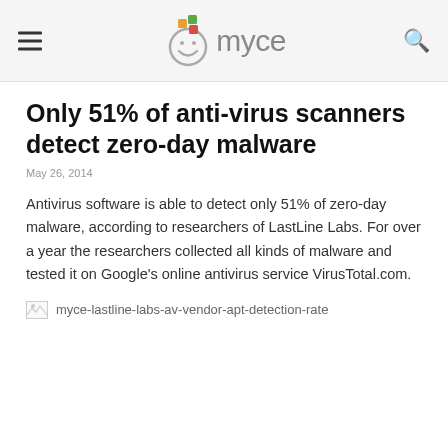myce
Only 51% of anti-virus scanners detect zero-day malware
May 26, 2014
Antivirus software is able to detect only 51% of zero-day malware, according to researchers of LastLine Labs. For over a year the researchers collected all kinds of malware and tested it on Google's online antivirus service VirusTotal.com.
[Figure (other): Broken image placeholder for myce-lastline-labs-av-vendor-apt-detection-rate]